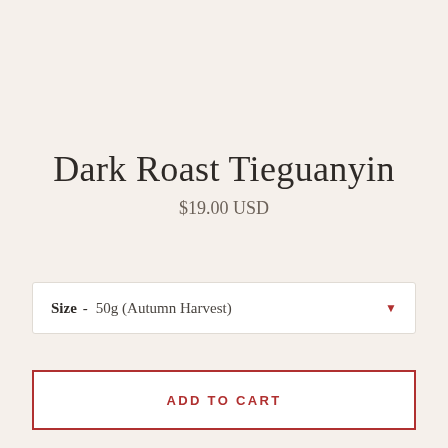Dark Roast Tieguanyin
$19.00 USD
Size - 50g (Autumn Harvest)
ADD TO CART